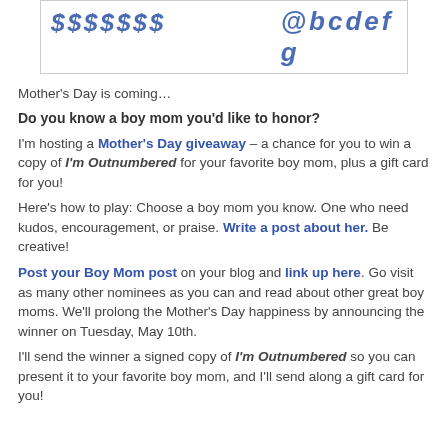[Figure (logo): Blog logo with stylized text in blue italic bold, shown in a bordered box at the top]
Mother's Day is coming…
Do you know a boy mom you'd like to honor?
I'm hosting a Mother's Day giveaway – a chance for you to win a copy of I'm Outnumbered for your favorite boy mom, plus a gift card for you!
Here's how to play: Choose a boy mom you know. One who need kudos, encouragement, or praise. Write a post about her. Be creative!
Post your Boy Mom post on your blog and link up here. Go visit as many other nominees as you can and read about other great boy moms. We'll prolong the Mother's Day happiness by announcing the winner on Tuesday, May 10th.
I'll send the winner a signed copy of I'm Outnumbered so you can present it to your favorite boy mom, and I'll send along a gift card for you!